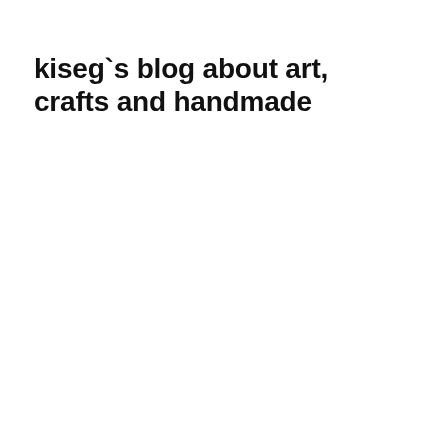kiseg`s blog about art, crafts and handmade